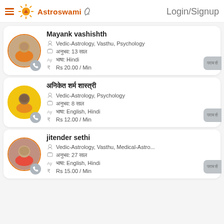Astroswami — Login/Signup
Mayank vashishth
Vedic-Astrology, Vasthu, Psychology
अनुभव: 13 साल
भाषा: Hindi
Rs 20.00 / Min
अनिकेत शर्म शास्त्री
Vedic-Astrology, Psychology
अनुभव: 8 साल
भाषा: English, Hindi
Rs 12.00 / Min
jitender sethi
Vedic-Astrology, Vasthu, Medical-Astro...
अनुभव: 27 साल
भाषा: English, Hindi
Rs 15.00 / Min